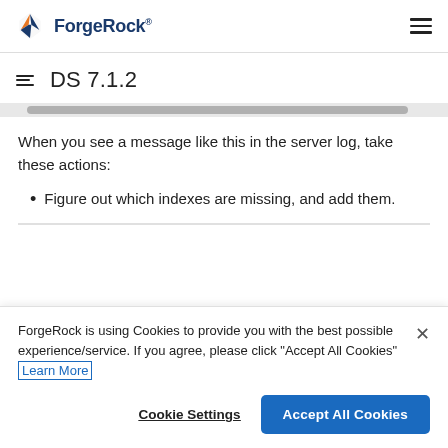ForgeRock DS 7.1.2
DS 7.1.2
When you see a message like this in the server log, take these actions:
Figure out which indexes are missing, and add them.
ForgeRock is using Cookies to provide you with the best possible experience/service. If you agree, please click "Accept All Cookies" Learn More